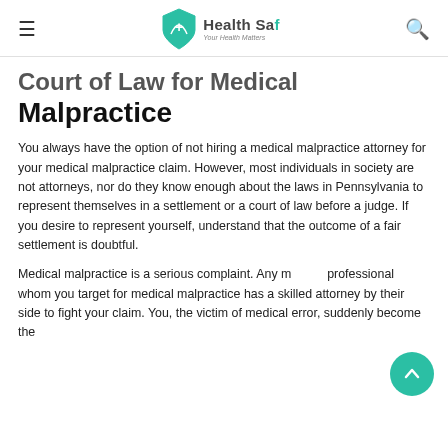Health Saf — Your Health Matters
Court of Law for Medical Malpractice
You always have the option of not hiring a medical malpractice attorney for your medical malpractice claim. However, most individuals in society are not attorneys, nor do they know enough about the laws in Pennsylvania to represent themselves in a settlement or a court of law before a judge. If you desire to represent yourself, understand that the outcome of a fair settlement is doubtful.
Medical malpractice is a serious complaint. Any medical professional whom you target for medical malpractice has a skilled attorney by their side to fight your claim. You, the victim of medical error, suddenly become the